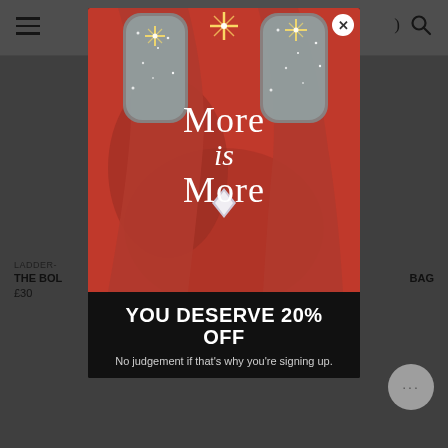[Figure (screenshot): Website navigation bar with hamburger menu icon on left and search icon on right, on white background]
LADDER-
THE BOL
£30
BAG
[Figure (photo): Modal popup overlay on a retail website. The modal shows a close (X) button in the top right, a red-toned photo of sparkly high-heel shoes with the serif text 'More is More' overlaid in white. Below the image on a dark background: 'YOU DESERVE 20% OFF' in large bold white uppercase text, and 'No judgement if that's why you're signing up.' in smaller grey text.]
YOU DESERVE 20% OFF
No judgement if that's why you're signing up.